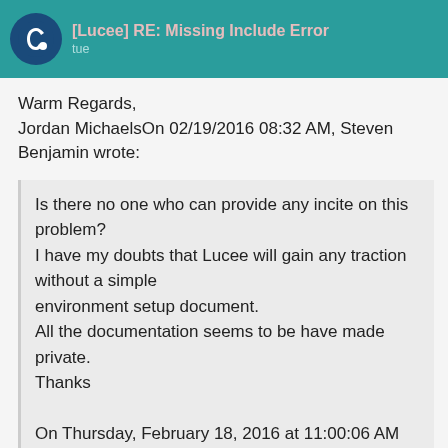[Lucee] RE: Missing Include Error
Warm Regards,
Jordan MichaelsOn 02/19/2016 08:32 AM, Steven Benjamin wrote:
Is there no one who can provide any incite on this problem?
I have my doubts that Lucee will gain any traction without a simple
environment setup document.
All the documentation seems to be have made private.
Thanks

On Thursday, February 18, 2016 at 11:00:06 AM UTC-8, Steven Benjamin wrote:
Hello, I just installed Lucee with the all p
windows 10 with IIS installed.
When I navigate to 127.0.0.1 (inetpub/wwwroc
to lucee (index.cfm) page successfully.